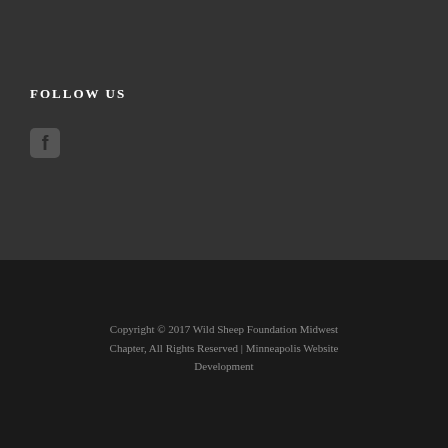FOLLOW US
[Figure (logo): Facebook icon — rounded square with white 'f' logo on dark background]
Copyright © 2017 Wild Sheep Foundation Midwest Chapter, All Rights Reserved | Minneapolis Website Development